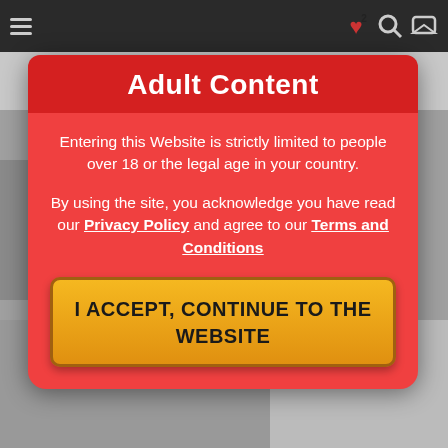[Figure (screenshot): Blurred website background with dark navigation bar at top]
Adult Content
Entering this Website is strictly limited to people over 18 or the legal age in your country.
By using the site, you acknowledge you have read our Privacy Policy and agree to our Terms and Conditions
I ACCEPT, CONTINUE TO THE WEBSITE